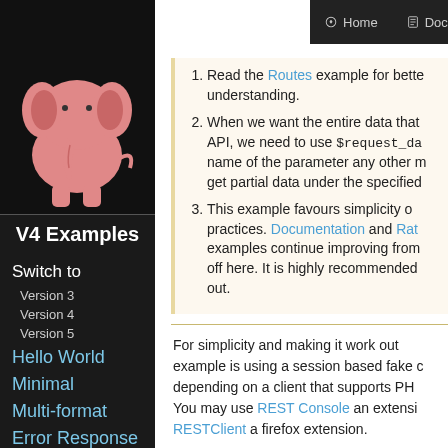Home | Documentation | Examples
[Figure (illustration): Pink elephant logo on black background]
V4 Examples
Switch to
Version 3
Version 4
Version 5
Hello World
Minimal
Multi-format
Error Response
Protected API
1. Read the Routes example for better understanding.
2. When we want the entire data that API, we need to use $request_da name of the parameter any other m get partial data under the specified
3. This example favours simplicity o practices. Documentation and Rat examples continue improving from off here. It is highly recommended out.
For simplicity and making it work out example is using a session based fake c depending on a client that supports PH You may use REST Console an extens RESTClient a firefox extension.